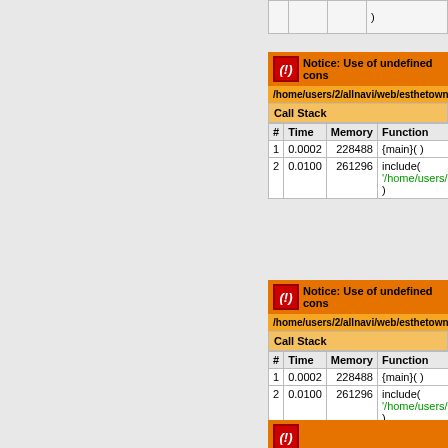| # | Time | Memory | Function |
| --- | --- | --- | --- |
|  |  |  | ) |
|  |  |  |  |
| # | Time | Memory | Function |
| --- | --- | --- | --- |
| 1 | 0.0002 | 228488 | {main}( ) |
| 2 | 0.0100 | 261296 | include(
'/home/users/2/allnav...
) |
| # | Time | Memory | Function |
| --- | --- | --- | --- |
| 1 | 0.0002 | 228488 | {main}( ) |
| 2 | 0.0100 | 261296 | include(
'/home/users/2/allnav...
) |